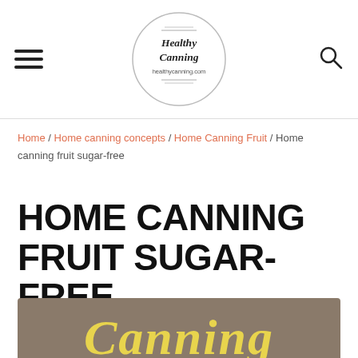Healthy Canning - healthycanning.com
Home / Home canning concepts / Home Canning Fruit / Home canning fruit sugar-free
HOME CANNING FRUIT SUGAR-FREE
[Figure (photo): Bottom of page showing partial image with cursive yellow 'Canning' text on a brownish-gray background]